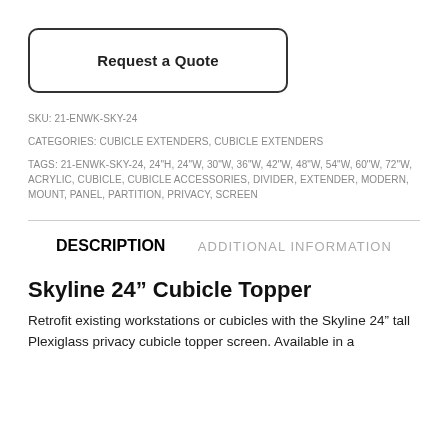Request a Quote
SKU: 21-ENWK-SKY-24
CATEGORIES: CUBICLE EXTENDERS, CUBICLE EXTENDERS
TAGS: 21-ENWK-SKY-24, 24"H, 24"W, 30"W, 36"W, 42"W, 48"W, 54"W, 60"W, 72"W, ACRYLIC, CUBICLE, CUBICLE ACCESSORIES, DIVIDER, EXTENDER, MODERN, MOUNT, PANEL, PARTITION, PRIVACY, SCREEN
DESCRIPTION
ADDITIONAL INFORMATION
Skyline 24” Cubicle Topper
Retrofit existing workstations or cubicles with the Skyline 24” tall Plexiglass privacy cubicle topper screen. Available in a